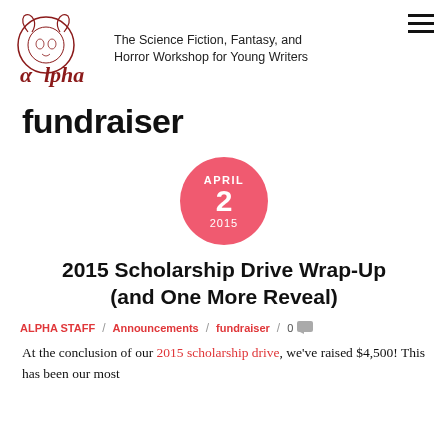Alpha - The Science Fiction, Fantasy, and Horror Workshop for Young Writers
fundraiser
[Figure (other): Pink circular date badge showing APRIL 2 2015]
2015 Scholarship Drive Wrap-Up (and One More Reveal)
ALPHA STAFF / Announcements / fundraiser / 0
At the conclusion of our 2015 scholarship drive, we've raised $4,500! This has been our most